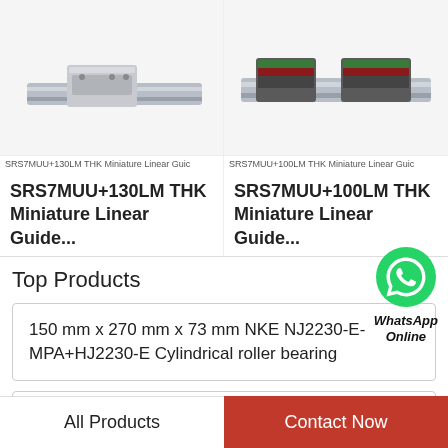[Figure (photo): THK SRS7MUU+130LM Miniature Linear Guide rail with carriage block, grey metal rail with green/red carriage]
SRS7MUU+130LM THK Miniature Linear Guic
SRS7MUU+130LM THK Miniature Linear Guide...
[Figure (photo): THK SRS7MUU+100LM Miniature Linear Guide rail with two carriage blocks, grey rail with green/red carriages]
SRS7MUU+100LM THK Miniature Linear Guic
SRS7MUU+100LM THK Miniature Linear Guide...
Top Products
[Figure (logo): WhatsApp green circle icon with phone handset]
WhatsApp Online
150 mm x 270 mm x 73 mm NKE NJ2230-E-MPA+HJ2230-E Cylindrical roller bearing
SKF SY 12 TF Bearing unit
All Products
Contact Now